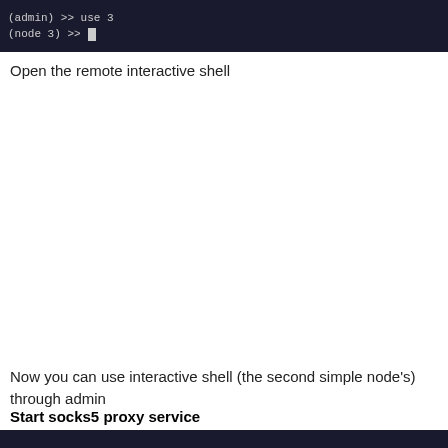[Figure (screenshot): Terminal screenshot showing command lines: '(admin) >> use 3' and '(node 3) >>' with a cursor, dark background.]
Open the remote interactive shell
Now you can use interactive shell (the second simple node's) through admin
Start socks5 proxy service
[Figure (screenshot): Bottom screenshot showing partial terminal or GUI interface.]